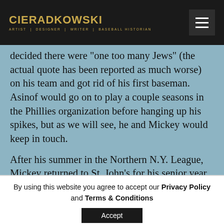CIERADKOWSKI ARTIST | DESIGNER | WRITER | BASEBALL HISTORIAN
decided there were "one too many Jews" (the actual quote has been reported as much worse) on his team and got rid of his first baseman. Asinof would go on to play a couple seasons in the Phillies organization before hanging up his spikes, but as we will see, he and Mickey would keep in touch.

After his summer in the Northern N.Y. League, Mickey returned to St. John's for his senior year. He was made
By using this website you agree to accept our Privacy Policy and Terms & Conditions
Accept